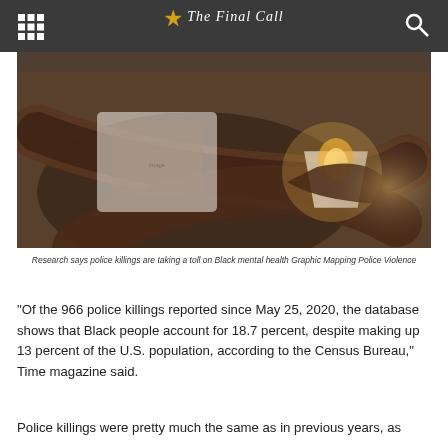The Final Call
[Figure (photo): Close-up photo of a person's hands holding a candle in a small plastic cup, wearing a t-shirt with a printed image, in a vigil setting.]
Research says police killings are taking a toll on Black mental health Graphic Mapping Police Violence
“Of the 966 police killings reported since May 25, 2020, the database shows that Black people account for 18.7 percent, despite making up 13 percent of the U.S. population, according to the Census Bureau,” Time magazine said.
Police killings were pretty much the same as in previous years, as